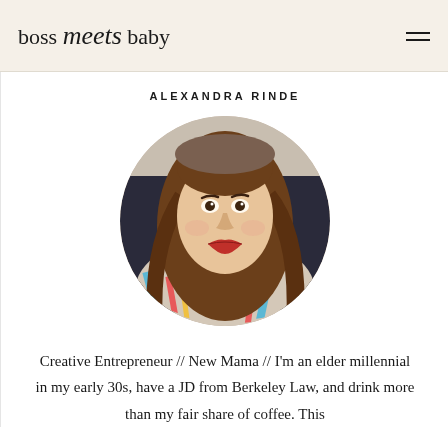boss meets baby
ALEXANDRA RINDE
[Figure (photo): Circular cropped portrait photo of Alexandra Rinde, a young woman with long brown hair, red lipstick, smiling, wearing a colorful patterned scarf/wrap and dark outer layer.]
Creative Entrepreneur // New Mama // I'm an elder millennial in my early 30s, have a JD from Berkeley Law, and drink more than my fair share of coffee. This